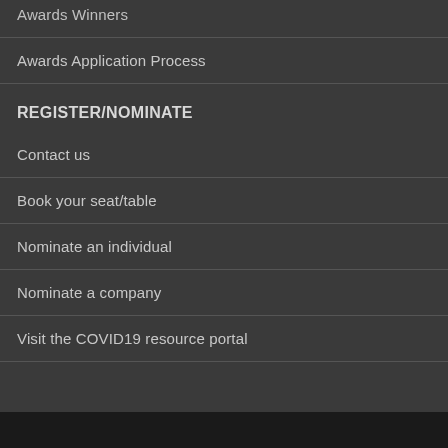Awards Winners
Awards Application Process
REGISTER/NOMINATE
Contact us
Book your seat/table
Nominate an individual
Nominate a company
Visit the COVID19 resource portal